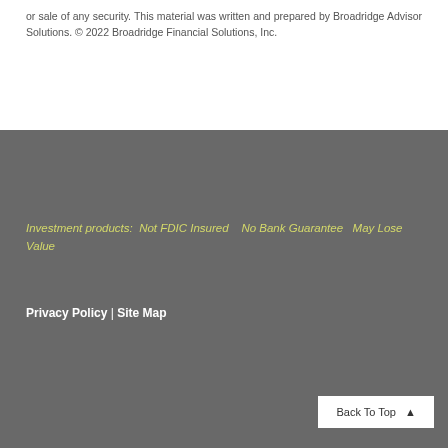or sale of any security. This material was written and prepared by Broadridge Advisor Solutions. © 2022 Broadridge Financial Solutions, Inc.
Investment products: Not FDIC Insured No Bank Guarantee May Lose Value
Privacy Policy | Site Map
Back To Top ▲